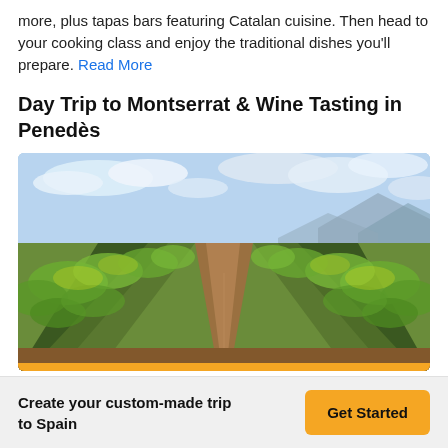more, plus tapas bars featuring Catalan cuisine. Then head to your cooking class and enjoy the traditional dishes you'll prepare. Read More
Day Trip to Montserrat & Wine Tasting in Penedès
[Figure (photo): A vineyard in Penedès, Spain, showing rows of grapevines extending into the distance with mountains in the background and a partly cloudy blue sky above.]
Create your custom-made trip to Spain
Get Started